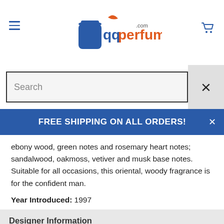qqperfume.com
Search
FREE SHIPPING ON ALL ORDERS!
ebony wood, green notes and rosemary heart notes; sandalwood, oakmoss, vetiver and musk base notes. Suitable for all occasions, this oriental, woody fragrance is for the confident man.
Year Introduced: 1997
Designer Information
Related Products
Shipping + Returns
Guarantee